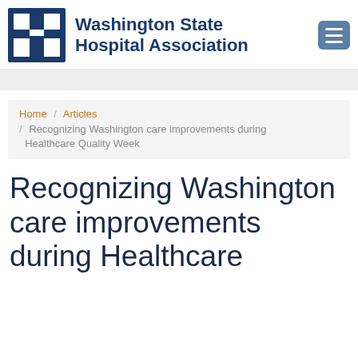[Figure (logo): Washington State Hospital Association logo with stylized W-H letter mark in dark blue and organization name]
Home / Articles / Recognizing Washington care improvements during Healthcare Quality Week
Recognizing Washington care improvements during Healthcare